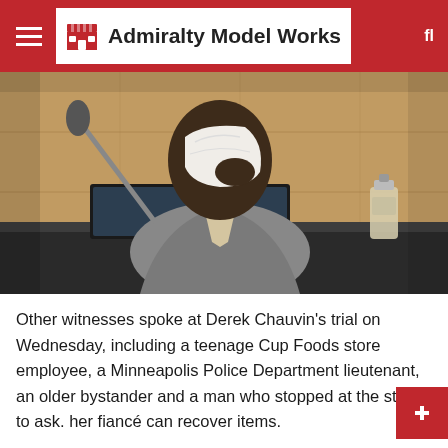Admiralty Model Works
[Figure (photo): A Black man in a grey suit sits at a witness stand, covering his face with a white tissue, appearing to cry. A microphone and monitor are visible on the stand, along with a hand sanitizer bottle.]
Other witnesses spoke at Derek Chauvin's trial on Wednesday, including a teenage Cup Foods store employee, a Minneapolis Police Department lieutenant, an older bystander and a man who stopped at the store to ask. her fiancé can recover items.
Body camera footage was shown of all former